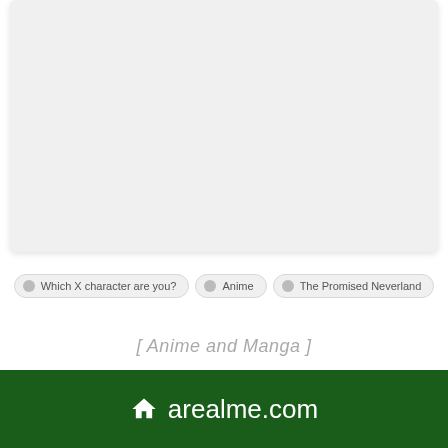[Figure (other): Large light gray placeholder box at the top of the page]
Which X character are you?
Anime
The Promised Neverland
[ Anime and Manga ]
arealme.com